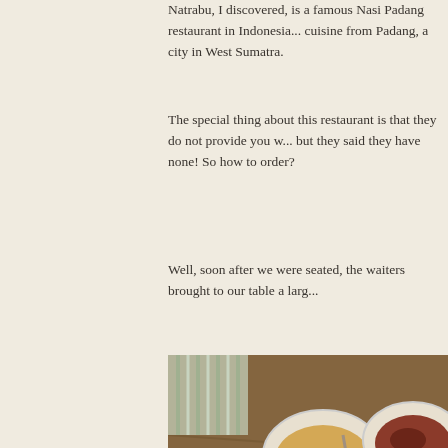Natrabu, I discovered, is a famous Nasi Padang restaurant in Indonesia... cuisine from Padang, a city in West Sumatra.
The special thing about this restaurant is that they do not provide you w... but they said they have none! So how to order?
Well, soon after we were seated, the waiters brought to our table a larg...
[Figure (photo): Photo of a wooden table with multiple white bowls containing various Indonesian Nasi Padang dishes including fish in green sauce, meat in red sauce, and fried chicken. Photobucket watermark visible.]